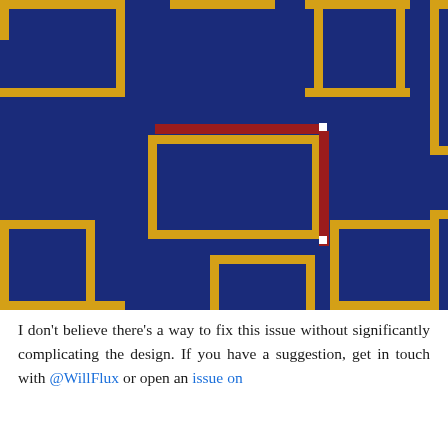[Figure (screenshot): A maze-like game screenshot with a dark navy blue background and golden/yellow thick border walls forming partial rectangular corridor shapes. In the center-left area there is a golden rectangle outline. A red horizontal bar and a red vertical bar cross at a white dot/square point near the center, forming an L-shape path indicator.]
I don't believe there's a way to fix this issue without significantly complicating the design. If you have a suggestion, get in touch with @WillFlux or open an issue on